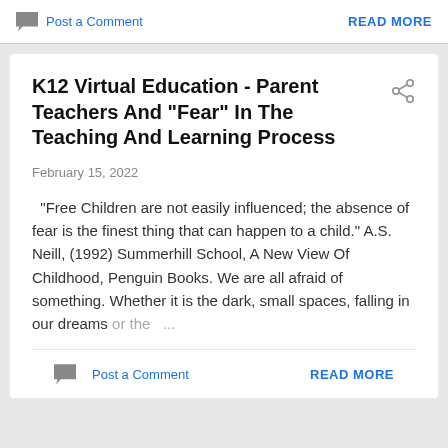Post a Comment    READ MORE
K12 Virtual Education - Parent Teachers And "Fear" In The Teaching And Learning Process
February 15, 2022
"Free Children are not easily influenced; the absence of fear is the finest thing that can happen to a child." A.S. Neill, (1992) Summerhill School, A New View Of Childhood, Penguin Books. We are all afraid of something. Whether it is the dark, small spaces, falling in our dreams or the ...
Post a Comment    READ MORE